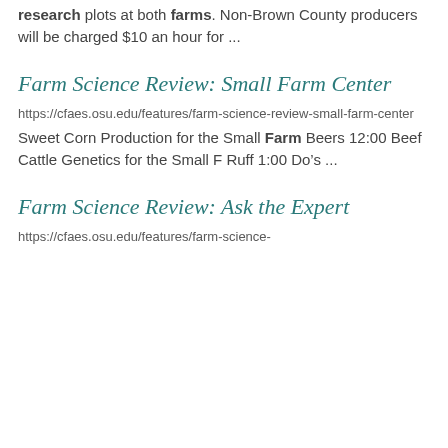research plots at both farms. Non-Brown County producers will be charged $10 an hour for ...
Farm Science Review: Small Farm Center
https://cfaes.osu.edu/features/farm-science-review-small-farm-center
Sweet Corn Production for the Small Farm Beers 12:00 Beef Cattle Genetics for the Small F Ruff 1:00 Do’s ...
Farm Science Review: Ask the Expert
https://cfaes.osu.edu/features/farm-science-